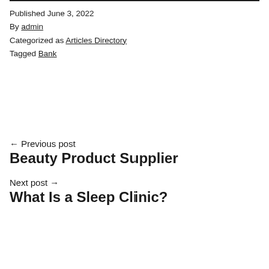Published June 3, 2022
By admin
Categorized as Articles Directory
Tagged Bank
← Previous post
Beauty Product Supplier
Next post →
What Is a Sleep Clinic?